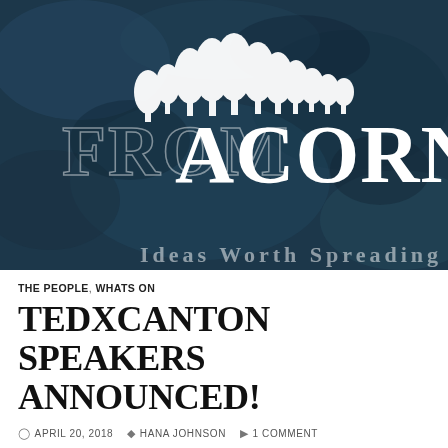[Figure (logo): From Acorns logo on a dark teal/navy textured background. White silhouette of trees at the top, with text 'FROM ACORNS' in large white serif letters below the trees. 'FROM' appears in a lighter outline style on the left, 'ACORNS' in bold solid letters on the right.]
THE PEOPLE, WHATS ON
TEDXCANTON SPEAKERS ANNOUNCED!
APRIL 20, 2018   HANA JOHNSON   1 COMMENT